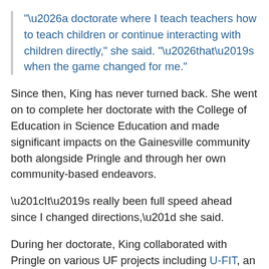“…a doctorate where I teach teachers how to teach children or continue interacting with children directly,” she said. “…that’s when the game changed for me.”
Since then, King has never turned back. She went on to complete her doctorate with the College of Education in Science Education and made significant impacts on the Gainesville community both alongside Pringle and through her own community-based endeavors.
“It’s really been full speed ahead since I changed directions,” she said.
During her doctorate, King collaborated with Pringle on various UF projects including U-FIT, an NSF-funded project for a...